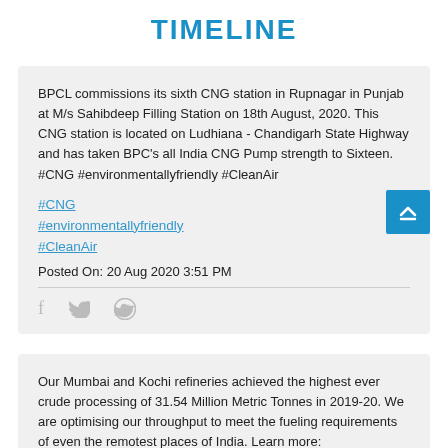TIMELINE
BPCL commissions its sixth CNG station in Rupnagar in Punjab at M/s Sahibdeep Filling Station on 18th August, 2020. This CNG station is located on Ludhiana - Chandigarh State Highway and has taken BPC's all India CNG Pump strength to Sixteen. #CNG #environmentallyfriendly #CleanAir
#CNG
#environmentallyfriendly
#CleanAir
Posted On: 20 Aug 2020 3:51 PM
Our Mumbai and Kochi refineries achieved the highest ever crude processing of 31.54 Million Metric Tonnes in 2019-20. We are optimising our throughput to meet the fueling requirements of even the remotest places of India. Learn more: